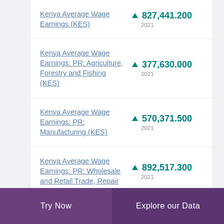Kenya Average Wage Earnings (KES)
Kenya Average Wage Earnings: PR: Agriculture, Forestry and Fishing (KES)
Kenya Average Wage Earnings: PR: Manufacturing (KES)
Kenya Average Wage Earnings: PR: Wholesale and Retail Trade, Repair
Try Now | Explore our Data